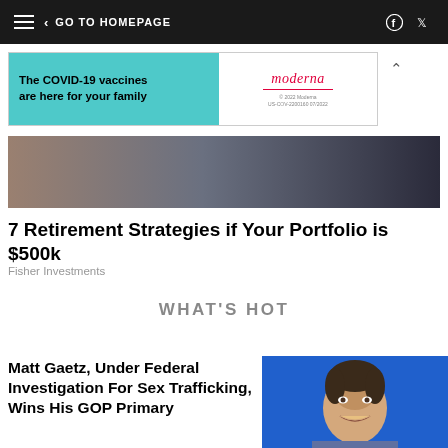GO TO HOMEPAGE
[Figure (infographic): Moderna COVID-19 vaccine advertisement banner: teal background with text 'The COVID-19 vaccines are here for your family', Moderna logo on white right panel]
[Figure (photo): Cropped photo of people at formal event, partially visible]
7 Retirement Strategies if Your Portfolio is $500k
Fisher Investments
WHAT'S HOT
Matt Gaetz, Under Federal Investigation For Sex Trafficking, Wins His GOP Primary
[Figure (photo): Headshot photo of Matt Gaetz smiling against blue background]